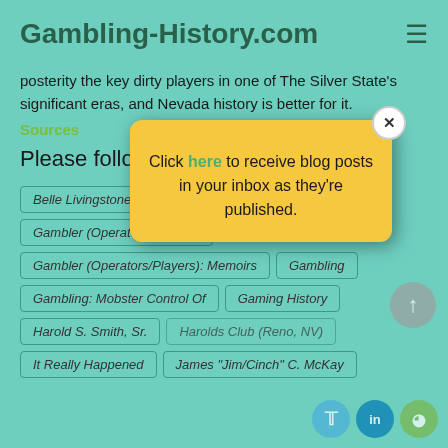Gambling-History.com
posterity the key dirty players in one of The Silver State's significant eras, and Nevada history is better for it.
Sources
Please follow
[Figure (screenshot): Modal popup on yellow background with text: Click here to receive blog posts in your inbox as they're published. Close button (X) in top right corner.]
Belle Livingstone
Gambler (Operators/Players)
Gambler (Operators/Players): Memoirs
Gambling
Gambling: Mobster Control Of
Gaming History
Harold S. Smith, Sr.
Harolds Club (Reno, NV)
It Really Happened
James "Jim/Cinch" C. McKay